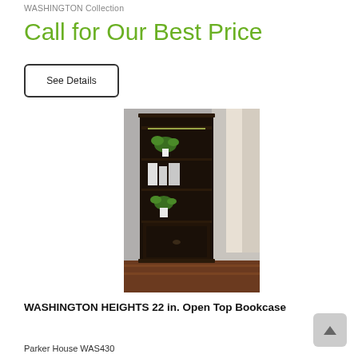WASHINGTON Collection
Call for Our Best Price
See Details
[Figure (photo): Tall dark wood bookcase with open shelves displaying plants and decorative items, plus a lower cabinet door, positioned in a room corner near a window with curtains.]
WASHINGTON HEIGHTS 22 in. Open Top Bookcase
Parker House WAS430